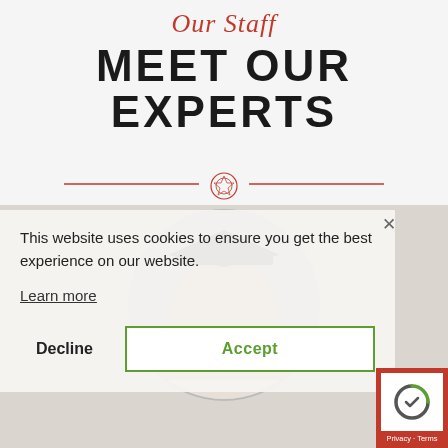Our Staff
MEET OUR EXPERTS
[Figure (illustration): Decorative red horizontal divider with ornamental badge center element]
[Figure (photo): Person wearing graduation cap, circular cropped photo, partially visible behind cookie consent banner]
This website uses cookies to ensure you get the best experience on our website.
Learn more
Decline
Accept
Privacy · Terms